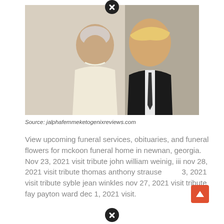[Figure (photo): An elderly woman in a cream/white outfit wearing pearl necklace stands next to a tall man with blonde hair wearing a dark suit and tie. They are posing together, smiling at the camera.]
Source: jalphafemmeketogenixreviews.com
View upcoming funeral services, obituaries, and funeral flowers for mckoon funeral home in newnan, georgia. Nov 23, 2021 visit tribute john william weinig, iii nov 28, 2021 visit tribute thomas anthony strause dec 3, 2021 visit tribute syble jean winkles nov 27, 2021 visit tribute fay payton ward dec 1, 2021 visit.